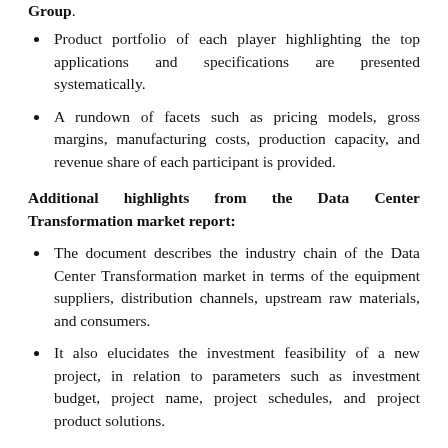Group.
Product portfolio of each player highlighting the top applications and specifications are presented systematically.
A rundown of facets such as pricing models, gross margins, manufacturing costs, production capacity, and revenue share of each participant is provided.
Additional highlights from the Data Center Transformation market report:
The document describes the industry chain of the Data Center Transformation market in terms of the equipment suppliers, distribution channels, upstream raw materials, and consumers.
It also elucidates the investment feasibility of a new project, in relation to parameters such as investment budget, project name, project schedules, and project product solutions.